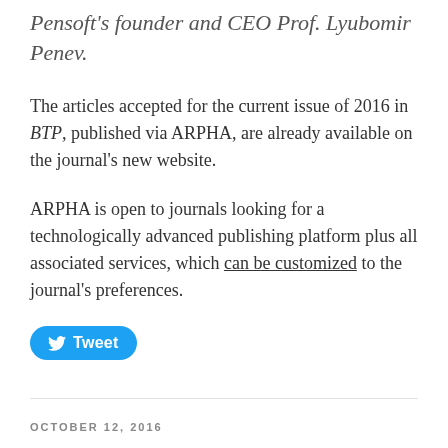Pensoft's founder and CEO Prof. Lyubomir Penev.
The articles accepted for the current issue of 2016 in BTP, published via ARPHA, are already available on the journal's new website.
ARPHA is open to journals looking for a technologically advanced publishing platform plus all associated services, which can be customized to the journal's preferences.
[Figure (other): Blue Twitter Tweet button with bird icon and 'Tweet' label]
OCTOBER 12, 2016
Next-Generation Journal Publishing Platform ARPHA at Frankfurt Book Fair